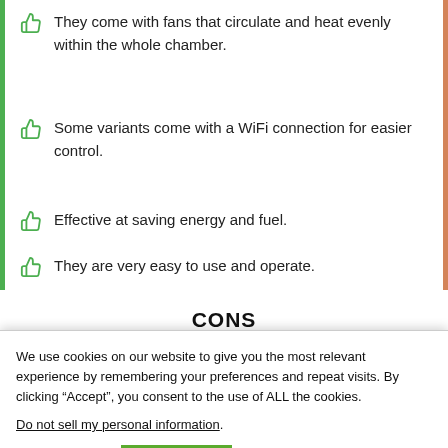They come with fans that circulate and heat evenly within the whole chamber.
Some variants come with a WiFi connection for easier control.
Effective at saving energy and fuel.
They are very easy to use and operate.
CONS
We use cookies on our website to give you the most relevant experience by remembering your preferences and repeat visits. By clicking “Accept”, you consent to the use of ALL the cookies.
Do not sell my personal information.
Cookie settings   ACCEPT